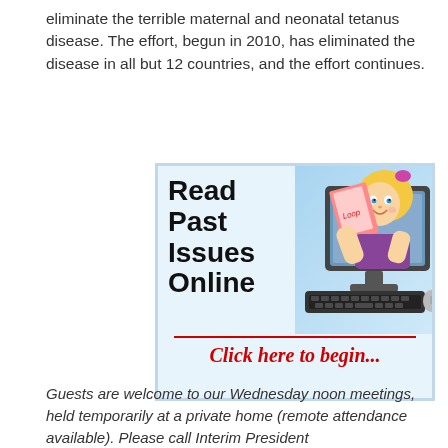eliminate the terrible maternal and neonatal tetanus disease. The effort, begun in 2010, has eliminated the disease in all but 12 countries, and the effort continues.
[Figure (illustration): Advertisement illustration showing a cartoon girl reading a magazine emerging from a computer monitor with keyboard. Text reads 'Read Past Issues Online' in large bold black letters and 'Click here to begin...' in bold red italic at the bottom on a light blue background.]
Guests are welcome to our Wednesday noon meetings, held temporarily at a private home (remote attendance available). Please call Interim President